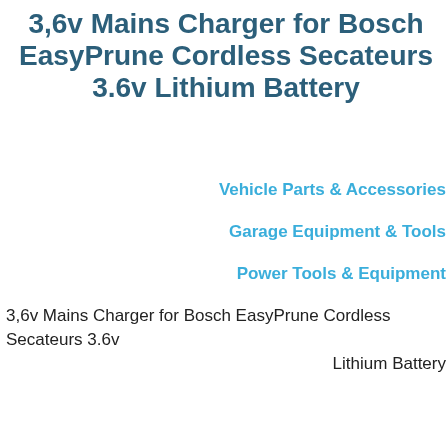3,6v Mains Charger for Bosch EasyPrune Cordless Secateurs 3.6v Lithium Battery
Vehicle Parts & Accessories
Garage Equipment & Tools
Power Tools & Equipment
3,6v Mains Charger for Bosch EasyPrune Cordless Secateurs 3.6v Lithium Battery